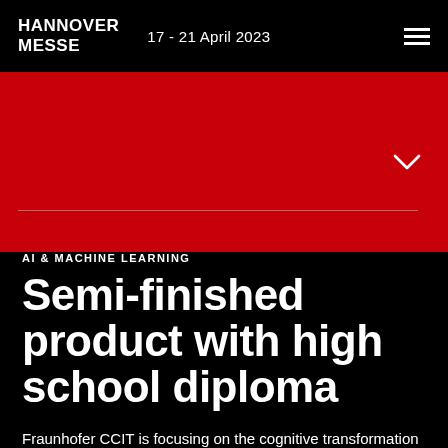HANNOVER MESSE  17 - 21 April 2023
[Figure (other): Red banner background area with a chevron/down-arrow icon and a horizontal divider line]
AI & MACHINE LEARNING
Semi-finished product with high school diploma
Fraunhofer CCIT is focusing on the cognitive transformation of industrial processes to increase the efficiency of forming